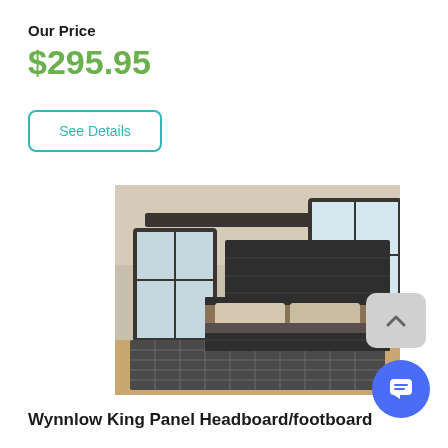Our Price
$295.95
See Details
[Figure (photo): Wynnlow King Panel Headboard and footboard in a bedroom setting with dark wood finish, decorative pillows, checkered rug, and large windows]
Wynnlow King Panel Headboard/footboard